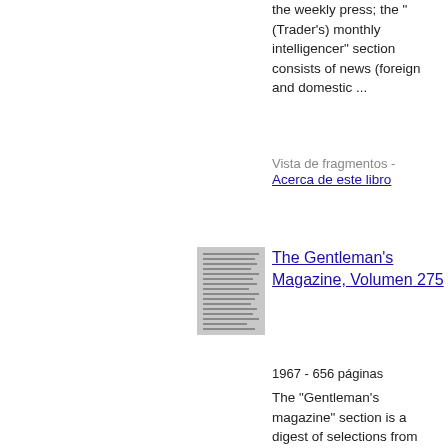the weekly press; the "(Trader's) monthly intelligencer" section consists of news (foreign and domestic ...
Vista de fragmentos - Acerca de este libro
[Figure (other): Small thumbnail image of a book page/cover for The Gentleman's Magazine, Volumen 275]
The Gentleman's Magazine, Volumen 275
1967 - 656 páginas
The "Gentleman's magazine" section is a digest of selections from